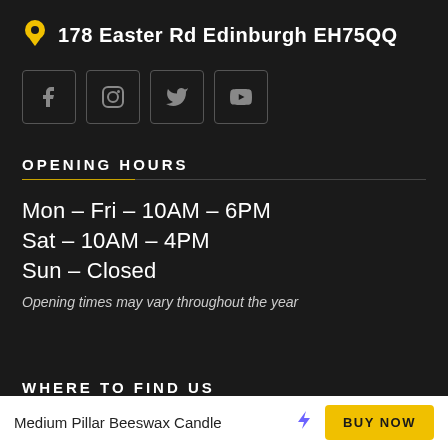178 Easter Rd Edinburgh EH75QQ
[Figure (other): Four social media icon buttons in bordered squares: Facebook, Instagram, Twitter, YouTube]
OPENING HOURS
Mon – Fri – 10AM – 6PM
Sat – 10AM – 4PM
Sun – Closed
Opening times may vary throughout the year
WHERE TO FIND US
Medium Pillar Beeswax Candle  BUY NOW